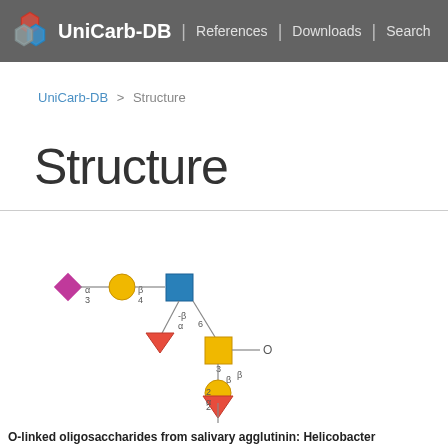UniCarb-DB | References | Downloads | Search
UniCarb-DB > Structure
Structure
[Figure (illustration): Glycan structure diagram showing an O-linked oligosaccharide. Contains monosaccharide symbols: pink diamond (NeuAc) connected via alpha-3 to yellow circle (Gal) connected via beta-4 to blue square (GlcNAc) at top branch; red triangle (Fuc) connected via beta-alpha to blue square; blue square connected to yellow square (GalNAc) via linkage 6; yellow square connected to O (reducing end) and to yellow circle via beta-3; yellow circle connected to red triangle via alpha-2.]
O-linked oligosaccharides from salivary agglutinin: Helicobacter